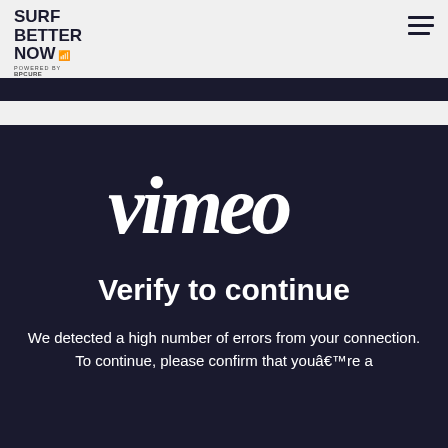SURF BETTER NOW (powered by BPCURE)
[Figure (logo): Vimeo logo in white on dark navy background]
Verify to continue
We detected a high number of errors from your connection. To continue, please confirm that youâ€™re a